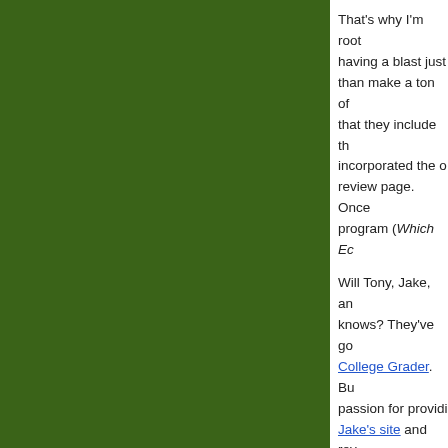[Figure (other): Dark green rectangular panel on the left side of the page]
That's why I'm rooting for them — having a blast just doing things rather than make a ton of money. I suggest that they include th... incorporated the o... review page. Once... program (Which Ed...
Will Tony, Jake, an... knows? They've go... College Grader. Bu... passion for providi... Jake's site and rev...
There's more to th...
Apparently Tony a... and are willing to s...
We are rea... wonderful p... we'd like to... like to cont... wondering... space, or s...